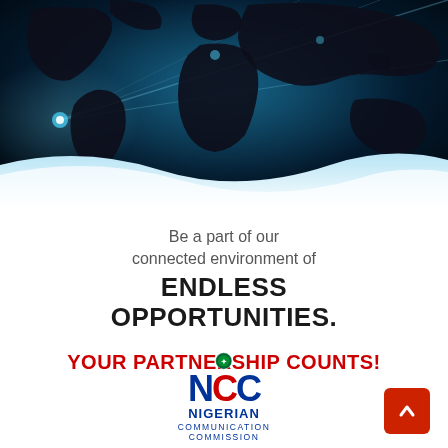[Figure (illustration): World map with glowing blue network connections on dark blue background, with a white wave separating the map from the lower white section]
Be a part of our connected environment of
ENDLESS OPPORTUNITIES.
YOUR PARTNERSHIP COUNTS!
[Figure (logo): NCC - Nigerian Communication Commission logo with blue NCC letters, a red C, national emblem, and text NIGERIAN COMMUNICATION COMMISSION]